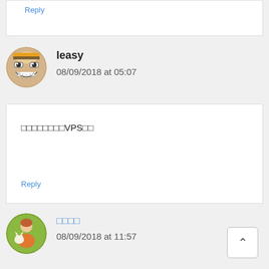Reply
leasy
08/09/2018 at 05:07
□□□□□□□□VPS□□
Reply
□□□□
08/09/2018 at 11:57